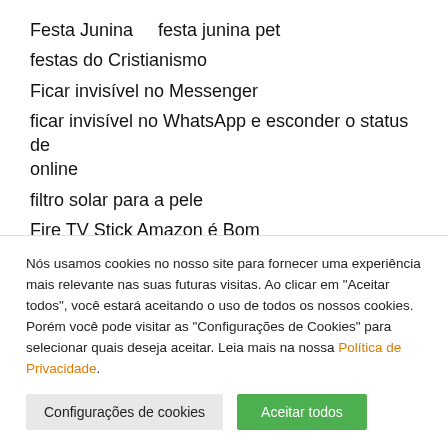Festa Junina    festa junina pet
festas do Cristianismo
Ficar invisível no Messenger
ficar invisível no WhatsApp e esconder o status de online
filtro solar para a pele
Fire TV Stick Amazon é Bom
Fire TV Stick é bom    Fire TV Stick Unboxing
Nós usamos cookies no nosso site para fornecer uma experiência mais relevante nas suas futuras visitas. Ao clicar em "Aceitar todos", você estará aceitando o uso de todos os nossos cookies. Porém você pode visitar as "Configurações de Cookies" para selecionar quais deseja aceitar. Leia mais na nossa Política de Privacidade.
Configurações de cookies | Aceitar todos